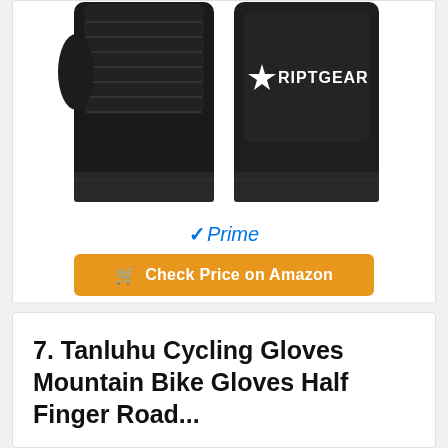[Figure (photo): Two black fingerless/half-finger gloves showing front and back views, with RiptGear logo on the palm side]
✓Prime
🛒 Check Price on Amazon
7. Tanluhu Cycling Gloves Mountain Bike Gloves Half Finger Road...